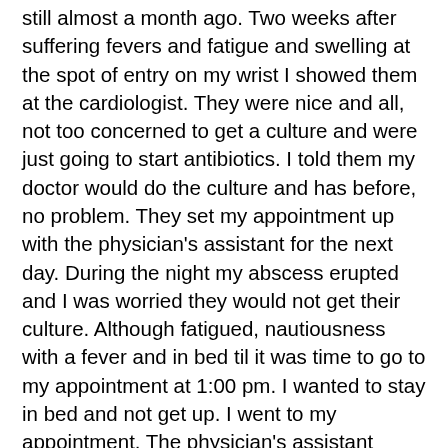still almost a month ago. Two weeks after suffering fevers and fatigue and swelling at the spot of entry on my wrist I showed them at the cardiologist. They were nice and all, not too concerned to get a culture and were just going to start antibiotics. I told them my doctor would do the culture and has before, no problem. They set my appointment up with the physician's assistant for the next day. During the night my abscess erupted and I was worried they would not get their culture. Although fatigued, nautiousness with a fever and in bed til it was time to go to my appointment at 1:00 pm. I wanted to stay in bed and not get up. I went to my appointment. The physician's assistant refused to examine me and accused me of opening it myself. I pushed my fingers nearby the area so she could see how swollen my wrist was. She said “Do not do that and get your nails away from there”. I responded that my nails were not touching me and that I needed her to see I was still swollen and needed a culture done. And as I expressed to her how